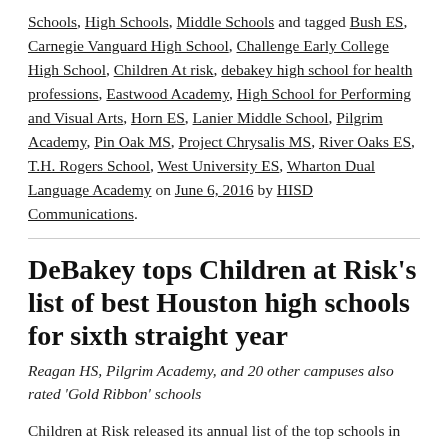Schools, High Schools, Middle Schools and tagged Bush ES, Carnegie Vanguard High School, Challenge Early College High School, Children At risk, debakey high school for health professions, Eastwood Academy, High School for Performing and Visual Arts, Horn ES, Lanier Middle School, Pilgrim Academy, Pin Oak MS, Project Chrysalis MS, River Oaks ES, T.H. Rogers School, West University ES, Wharton Dual Language Academy on June 6, 2016 by HISD Communications.
DeBakey tops Children at Risk's list of best Houston high schools for sixth straight year
Reagan HS, Pilgrim Academy, and 20 other campuses also rated 'Gold Ribbon' schools
Children at Risk released its annual list of the top schools in the greater Houston area on April 27, and for the sixth consecutive year HISD's DeBakey High School for Health Professions...